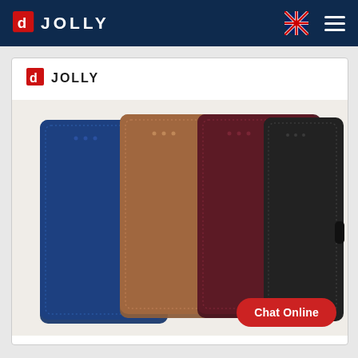JOLLY
[Figure (logo): Jolly brand logo with red D icon and white JOLLY text on dark navy navigation bar, with UK flag and hamburger menu on the right]
[Figure (photo): Product photo showing four leather wallet phone cases in blue, tan/brown, dark maroon/burgundy, and black colors, fanned out and overlapping, with JOLLY logo at top left of the card, and a red 'Chat Online' button at bottom right]
Chat Online